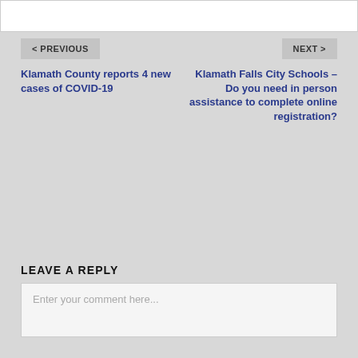< PREVIOUS
Klamath County reports 4 new cases of COVID-19
NEXT >
Klamath Falls City Schools – Do you need in person assistance to complete online registration?
LEAVE A REPLY
Enter your comment here...